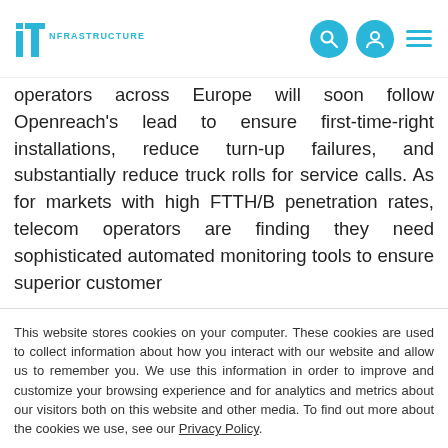IT INFRASTRUCTURE [logo with search, user, and menu icons]
operators across Europe will soon follow Openreach's lead to ensure first-time-right installations, reduce turn-up failures, and substantially reduce truck rolls for service calls. As for markets with high FTTH/B penetration rates, telecom operators are finding they need sophisticated automated monitoring tools to ensure superior customer
This website stores cookies on your computer. These cookies are used to collect information about how you interact with our website and allow us to remember you. We use this information in order to improve and customize your browsing experience and for analytics and metrics about our visitors both on this website and other media. To find out more about the cookies we use, see our Privacy Policy.
If you decline, your information won't be tracked when you visit this website. A single cookie will be used in your browser to remember your preference not to be tracked.
Accept | Decline